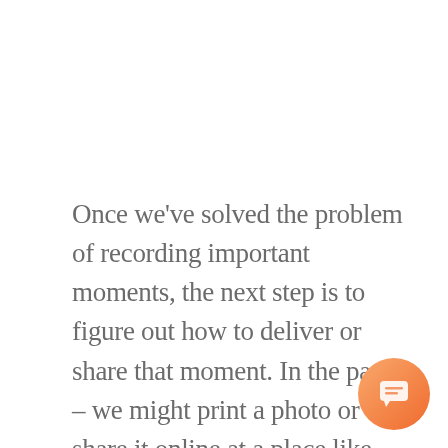Once we've solved the problem of recording important moments, the next step is to figure out how to deliver or share that moment. In the past – we might print a photo or share it online at a place like snapfish.com. Now, more users are putting their photos and videos on facebook and myspace first. Indeed taking a photo often has the specific destination in mind. If you want to print it, take it with an SLR, download it to your computer, ad the levels and upload it to snapfish. If you want t
[Figure (illustration): Orange gradient chat bubble icon in the bottom-right corner]